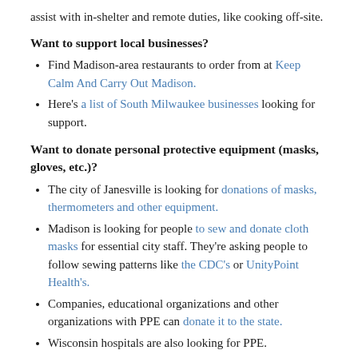assist with in-shelter and remote duties, like cooking off-site.
Want to support local businesses?
Find Madison-area restaurants to order from at Keep Calm And Carry Out Madison.
Here's a list of South Milwaukee businesses looking for support.
Want to donate personal protective equipment (masks, gloves, etc.)?
The city of Janesville is looking for donations of masks, thermometers and other equipment.
Madison is looking for people to sew and donate cloth masks for essential city staff. They're asking people to follow sewing patterns like the CDC's or UnityPoint Health's.
Companies, educational organizations and other organizations with PPE can donate it to the state.
Wisconsin hospitals are also looking for PPE.